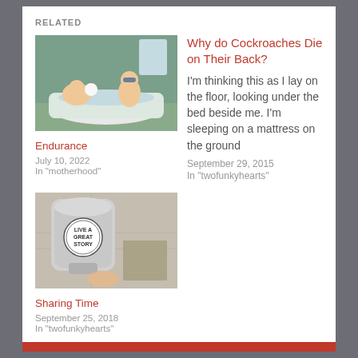RELATED
[Figure (photo): Two children playing in a bathtub with water]
Endurance
July 10, 2022
In "motherhood"
Why do Cockroaches Die on Their Back?
I'm thinking this as I lay on the floor, looking under the bed beside me. I'm sleeping on a mattress on the ground
September 29, 2015
In "twofunkyhearts"
[Figure (photo): A silver hand dryer or dispenser with a circular stamp reading LIVE A GREAT STORY]
Sharing Time
September 25, 2018
In "twofunkyhearts"